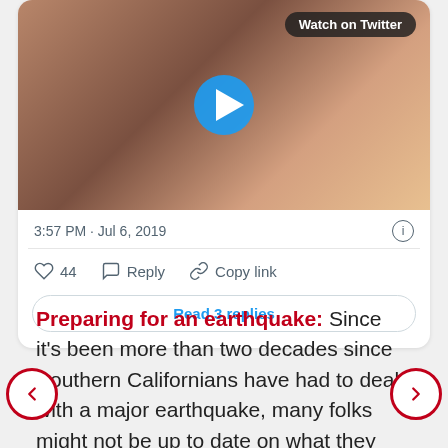[Figure (screenshot): Twitter/X embedded tweet video thumbnail showing a blonde woman applying makeup, with a blue play button circle overlay and 'Watch on Twitter' badge in top right corner.]
3:57 PM · Jul 6, 2019
44  Reply  Copy link
Read 3 replies
Preparing for an earthquake: Since it's been more than two decades since Southern Californians have had to deal with a major earthquake, many folks might not be up to date on what they should do before and after a quake.